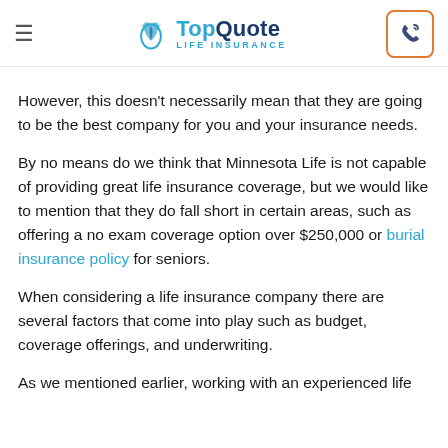TopQuote LIFE INSURANCE
However, this doesn't necessarily mean that they are going to be the best company for you and your insurance needs.
By no means do we think that Minnesota Life is not capable of providing great life insurance coverage, but we would like to mention that they do fall short in certain areas, such as offering a no exam coverage option over $250,000 or burial insurance policy for seniors.
When considering a life insurance company there are several factors that come into play such as budget, coverage offerings, and underwriting.
As we mentioned earlier, working with an experienced life